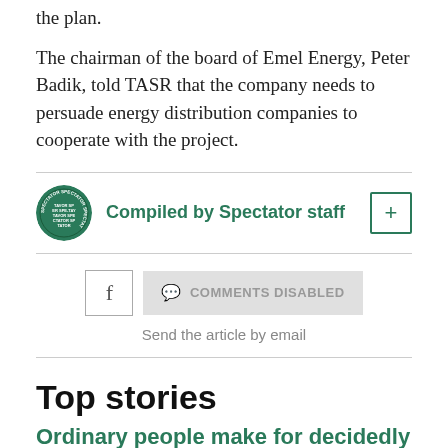the plan.
The chairman of the board of Emel Energy, Peter Badik, told TASR that the company needs to persuade energy distribution companies to cooperate with the project.
[Figure (logo): Circular Spectator staff logo badge, green with text SPECTATOR repeated around circle]
Compiled by Spectator staff
COMMENTS DISABLED
Send the article by email
Top stories
Ordinary people make for decidedly